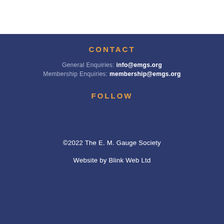CONTACT
General Enquiries: info@emgs.org
Membership Enquiries: membership@emgs.org
FOLLOW
[Figure (other): Facebook and Twitter social media icons in white]
©2022 The E. M. Gauge Society
Website by Blink Web Ltd